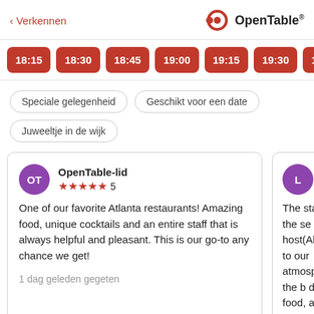< Verkennen    OpenTable
18:15
18:30
18:45
19:00
19:15
19:30
19:45
Speciale gelegenheid
Geschikt voor een date
Juweeltje in de wijk
OpenTable-lid ★★★★★ 5
One of our favorite Atlanta restaurants! Amazing food, unique cocktails and an entire staff that is always helpful and pleasant. This is our go-to any chance we get!
1 dag geleden gegeten
Lovelovelau ★★★★★ 5
The staff at the se host(Aliyah) to our atmosphere, the b decor, food, and d
1 dag geleden geg